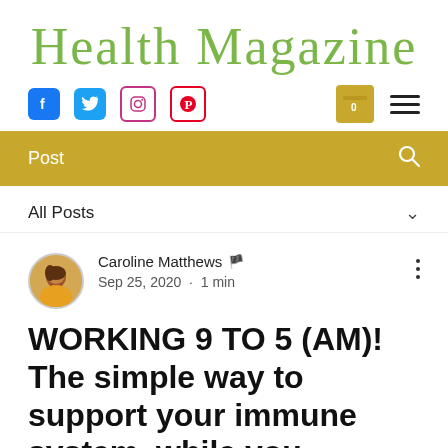Health Magazine
[Figure (screenshot): Social media icons: Facebook (blue), Twitter (blue), Instagram (pink border), Pinterest (red border), shopping cart icon (gold), hamburger menu icon]
[Figure (screenshot): Gold navigation bar with 'Post' text and search icon]
All Posts
[Figure (photo): Circular avatar photo of Caroline Matthews wearing a yellow top]
Caroline Matthews 🏴 Sep 25, 2020 · 1 min
WORKING 9 TO 5 (AM)! The simple way to support your immune system, while you sleep!!